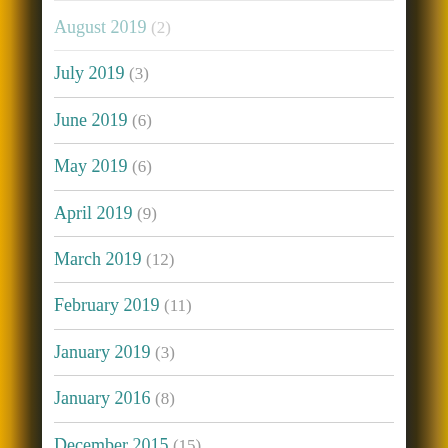August 2019 (2)
July 2019 (3)
June 2019 (6)
May 2019 (6)
April 2019 (9)
March 2019 (12)
February 2019 (11)
January 2019 (3)
January 2016 (8)
December 2015 (15)
November 2015 (15)